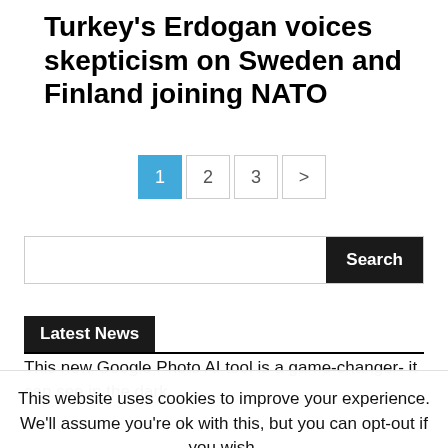Turkey's Erdogan voices skepticism on Sweden and Finland joining NATO
[Figure (other): Pagination controls: buttons labeled 1 (active/highlighted blue), 2, 3, >]
[Figure (other): Search bar with text input and black Search button]
Latest News
This new Google Photo AI tool is a game-changer- it can see in the dark.
This website uses cookies to improve your experience. We'll assume you're ok with this, but you can opt-out if you wish.
Accept
Read More